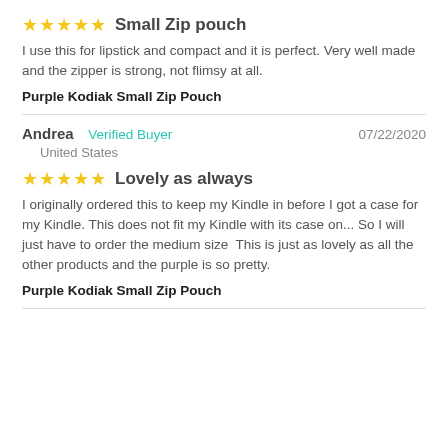★★★★★ Small Zip pouch
I use this for lipstick and compact and it is perfect. Very well made and the zipper is strong, not flimsy at all.
Purple Kodiak Small Zip Pouch
Andrea  Verified Buyer  07/22/2020
United States
★★★★★ Lovely as always
I originally ordered this to keep my Kindle in before I got a case for my Kindle. This does not fit my Kindle with its case on... So I will just have to order the medium size  This is just as lovely as all the other products and the purple is so pretty.
Purple Kodiak Small Zip Pouch